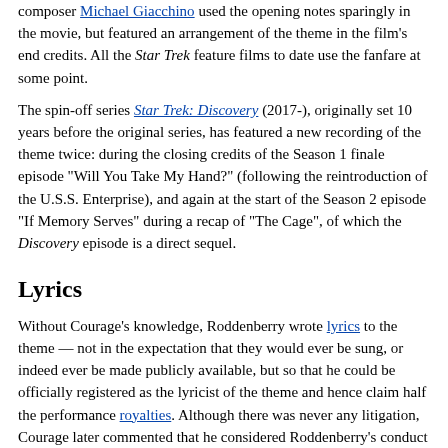composer Michael Giacchino used the opening notes sparingly in the movie, but featured an arrangement of the theme in the film's end credits. All the Star Trek feature films to date use the fanfare at some point.
The spin-off series Star Trek: Discovery (2017-), originally set 10 years before the original series, has featured a new recording of the theme twice: during the closing credits of the Season 1 finale episode "Will You Take My Hand?" (following the reintroduction of the U.S.S. Enterprise), and again at the start of the Season 2 episode "If Memory Serves" during a recap of "The Cage", of which the Discovery episode is a direct sequel.
Lyrics
Without Courage's knowledge, Roddenberry wrote lyrics to the theme — not in the expectation that they would ever be sung, or indeed ever be made publicly available, but so that he could be officially registered as the lyricist of the theme and hence claim half the performance royalties. Although there was never any litigation, Courage later commented that he considered Roddenberry's conduct unethical. Roddenberry was quoted as responding, "Hey, I have to get some money somewhere. I'm sure not gonna get it out of the profits of Star Trek.".[7] These lyrics were published in the book The Making of Star Trek by